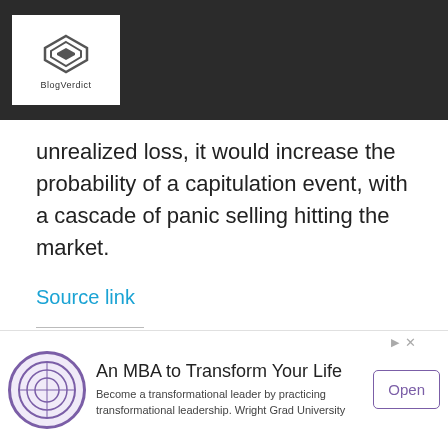BlogVerdict
unrealized loss, it would increase the probability of a capitulation event, with a cascade of panic selling hitting the market.
Source link
Share this:
Twitter  Facebook
[Figure (other): Advertisement banner: An MBA to Transform Your Life - Wright Grad University with Open button]